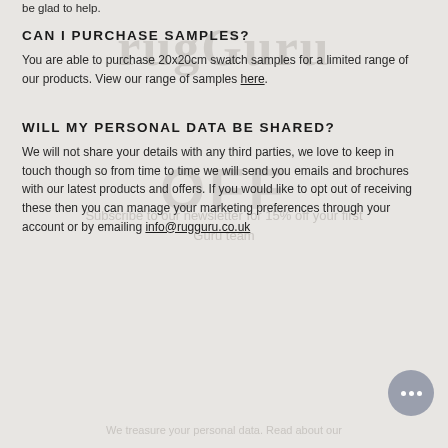be glad to help.
CAN I PURCHASE SAMPLES?
You are able to purchase 20x20cm swatch samples for a limited range of our products. View our range of samples here.
WILL MY PERSONAL DATA BE SHARED?
We will not share your details with any third parties, we love to keep in touch though so from time to time we will send you emails and brochures with our latest products and offers. If you would like to opt out of receiving these then you can manage your marketing preferences through your account or by emailing info@rugguru.co.uk